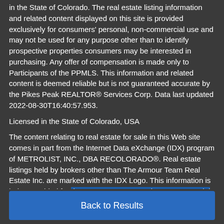in the State of Colorado. The real estate listing information and related content displayed on this site is provided exclusively for consumers' personal, non-commercial use and may not be used for any purpose other than to identify prospective properties consumers may be interested in purchasing. Any offer of compensation is made only to Participants of the PPMLS. This information and related content is deemed reliable but is not guaranteed accurate by the Pikes Peak REALTOR® Services Corp. Data last updated 2022-08-30T16:40:57.953.
Licensed in the State of Colorado, USA
The content relating to real estate for sale in this Web site comes in part from the Internet Data eXchange (IDX) program of METROLIST, INC., DBA RECOLORADO®. Real estate listings held by brokers other than The Armour Team Real Estate Inc. are marked with the IDX Logo. This information is being provided for the consumers' personal, non-commercial use and may not be
Back to Results